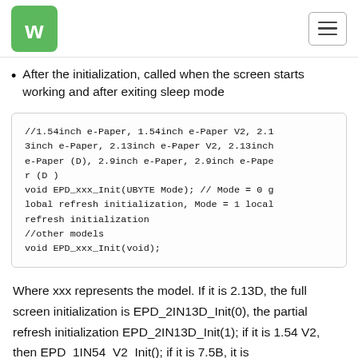Waveshare logo and navigation menu
After the initialization, called when the screen starts working and after exiting sleep mode
//1.54inch e-Paper, 1.54inch e-Paper V2, 2.13inch e-Paper, 2.13inch e-Paper V2, 2.13inch e-Paper (D), 2.9inch e-Paper, 2.9inch e-Paper (D )
void EPD_xxx_Init(UBYTE Mode); // Mode = 0 global refresh initialization, Mode = 1 local refresh initialization
//other models
void EPD_xxx_Init(void);
Where xxx represents the model. If it is 2.13D, the full screen initialization is EPD_2IN13D_Init(0), the partial refresh initialization EPD_2IN13D_Init(1); if it is 1.54 V2, then EPD_1IN54_V2_Init(); if it is 7.5B, it is